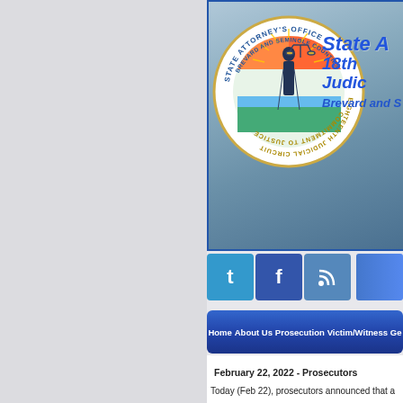[Figure (logo): State Attorney's Office Brevard and Seminole Counties 18th Judicial Circuit seal with lady justice holding scales, text 'Commitment to Justice']
State Attorney's Office 18th Judicial Circuit - Brevard and Seminole Counties
[Figure (screenshot): Social media icons: Twitter (t), Facebook (f), RSS feed, and blue bar]
Home | About Us | Prosecution | Victim/Witness | Ge...
February 22, 2022 - Prosecutors Announce N...
Today (Feb 22), prosecutors announced that a and a thorough review by Chief Assistant Sta... allegations by last State Representative R...